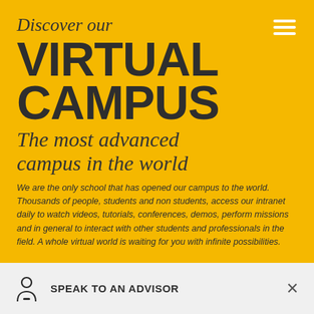Discover our VIRTUAL CAMPUS
The most advanced campus in the world
We are the only school that has opened our campus to the world. Thousands of people, students and non students, access our intranet daily to watch videos, tutorials, conferences, demos, perform missions and in general to interact with other students and professionals in the field. A whole virtual world is waiting for you with infinite possibilities.
SPEAK TO AN ADVISOR